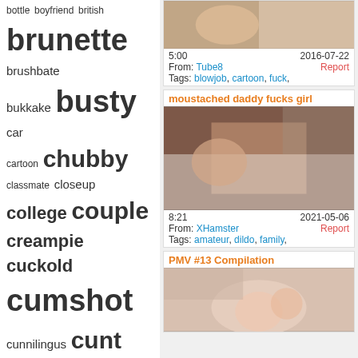bottle boyfriend british brunette brushbate bukkake busty car cartoon chubby classmate closeup college couple creampie cuckold cumshot cunnilingus cunt cutie dildo doggy double drunk emo extreme facesitting facial family fetish fingering firsttime fisting flashing footjob french fuck fun games german girlfriend goth group hairy handjob hardcore hidden horny hotel housewife insertions
[Figure (photo): Blurred video thumbnail]
5:00  2016-07-22 From: Tube8  Report Tags: blowjob, cartoon, fuck,
moustached daddy fucks girl
[Figure (photo): Blurred video thumbnail of moustached daddy fucks girl]
8:21  2021-05-06 From: XHamster  Report Tags: amateur, dildo, family,
PMV #13 Compilation
[Figure (photo): Blurred video thumbnail of PMV #13 Compilation]